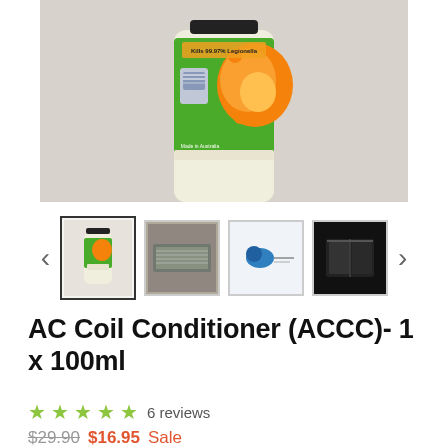[Figure (photo): Close-up photo of AC Coil Conditioner (ACCC) product bottle with green label showing a cartoon character and orange germ/bacteria illustration. Label text includes 'Kills 99.97% Legionella'. The bottle is cream/white colored with a dark cap, displayed against a light beige background.]
[Figure (photo): Thumbnail row showing 4 product images: 1) selected thumbnail of the full bottle, 2) image of AC coils/equipment, 3) small logo/branding image with blue element, 4) dark image of AC unit components. Navigation arrows on left and right.]
AC Coil Conditioner (ACCC)- 1 x 100ml
★★★★½ 6 reviews
$29.90  $16.95 Sale